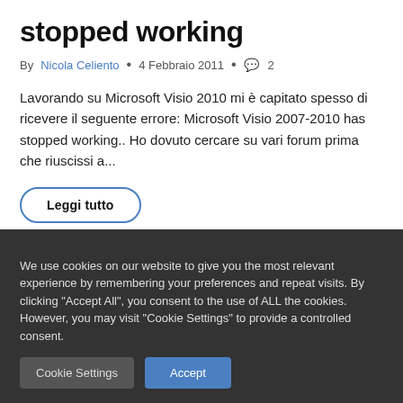stopped working
By Nicola Celiento  •  4 Febbraio 2011  •  2
Lavorando su Microsoft Visio 2010 mi è capitato spesso di ricevere il seguente errore: Microsoft Visio 2007-2010 has stopped working.. Ho dovuto cercare su vari forum prima che riuscissi a...
Leggi tutto
We use cookies on our website to give you the most relevant experience by remembering your preferences and repeat visits. By clicking "Accept All", you consent to the use of ALL the cookies. However, you may visit "Cookie Settings" to provide a controlled consent.